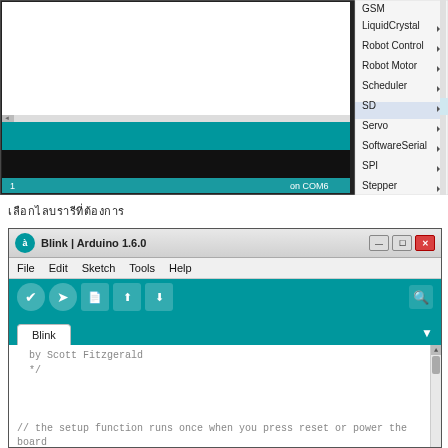[Figure (screenshot): Arduino IDE screenshot showing a library dropdown menu with items: GSM, LiquidCrystal, Robot Control, Robot Motor, Scheduler, SD, Servo, SoftwareSerial, SPI, Stepper. The Arduino IDE window has a teal toolbar and a code editor area. Bottom left shows '1' and bottom right shows 'on COM6'.]
เลือกไลบรารีที่ต้องการ
[Figure (screenshot): Arduino IDE 1.6.0 window titled 'Blink | Arduino 1.6.0' showing the Blink sketch code. The code shows: by Scott Fitzgerald, */, // the setup function runs once when you press reset or power the board, void setup() {, // initialize digital pin 13 as an output., pinMode(13, OUTPUT);, }]